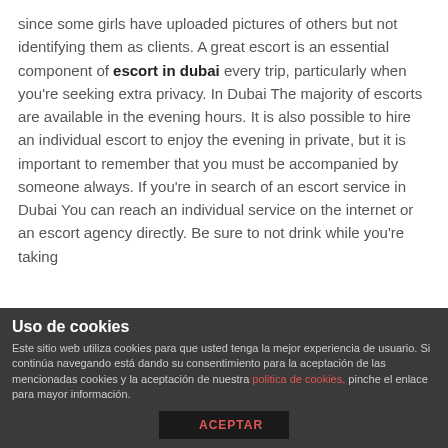since some girls have uploaded pictures of others but not identifying them as clients. A great escort is an essential component of escort in dubai every trip, particularly when you're seeking extra privacy. In Dubai The majority of escorts are available in the evening hours. It is also possible to hire an individual escort to enjoy the evening in private, but it is important to remember that you must be accompanied by someone always. If you're in search of an escort service in Dubai You can reach an individual service on the internet or an escort agency directly. Be sure to not drink while you're taking
Uso de cookies
Este sitio web utiliza cookies para que usted tenga la mejor experiencia de usuario. Si continúa navegando está dando su consentimiento para la aceptación de las mencionadas cookies y la aceptación de nuestra politica de cookies, pinche el enlace para mayor información.